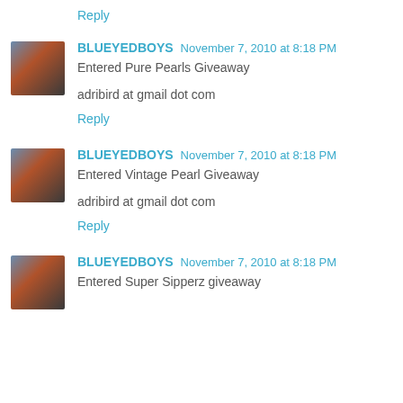Reply
BLUEYEDBOYS  November 7, 2010 at 8:18 PM
Entered Pure Pearls Giveaway
adribird at gmail dot com
Reply
BLUEYEDBOYS  November 7, 2010 at 8:18 PM
Entered Vintage Pearl Giveaway
adribird at gmail dot com
Reply
BLUEYEDBOYS  November 7, 2010 at 8:18 PM
Entered Super Sipperz giveaway